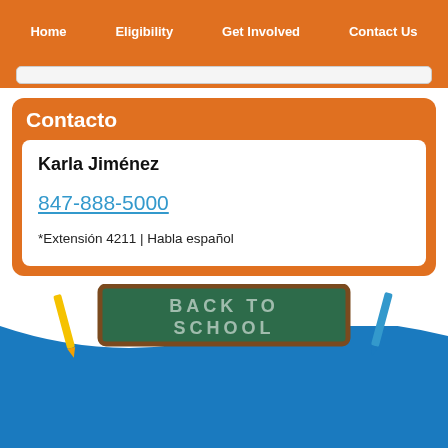Home  Eligibility  Get Involved  Contact Us
Contacto
Karla Jiménez
847-888-5000
*Extensión 4211 | Habla español
[Figure (photo): Back to school chalkboard image with pencils, blue background with white wave]